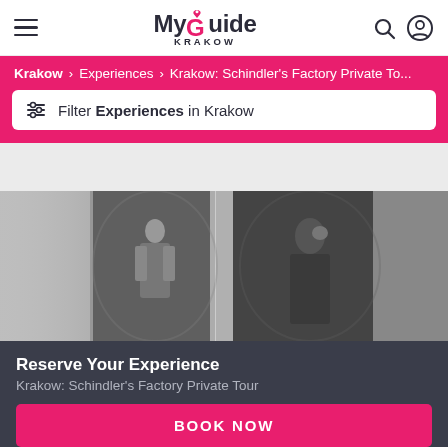MyGuide KRAKOW
Krakow > Experiences > Krakow: Schindler's Factory Private To...
Filter Experiences in Krakow
[Figure (photo): Interior of Schindler's Factory museum showing historical black and white photographic displays on cylindrical and flat panels depicting WWII-era soldiers and scenes]
Reserve Your Experience
Krakow: Schindler's Factory Private Tour
BOOK NOW